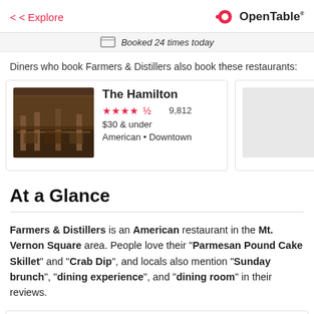< Explore | OpenTable
Booked 24 times today
Diners who book Farmers & Distillers also book these restaurants:
[Figure (screenshot): Restaurant card for The Hamilton: 4.5 stars, 9,812 reviews, $30 & under, American • Downtown]
[Figure (screenshot): Partially visible restaurant card for Chapl...: 4 stars, $30 & under, Japanese]
At a Glance
Farmers & Distillers is an American restaurant in the Mt. Vernon Square area. People love their "Parmesan Pound Cake Skillet" and "Crab Dip", and locals also mention "Sunday brunch", "dining experience", and "dining room" in their reviews.
Menu